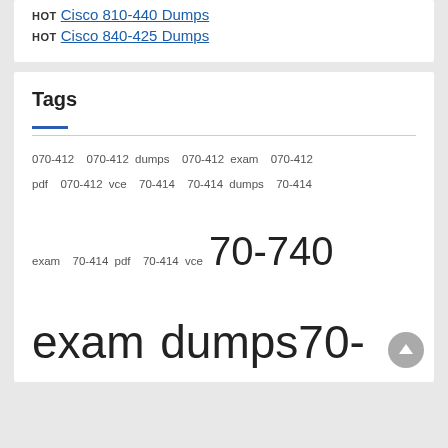HOT Cisco 810-440 Dumps
HOT Cisco 840-425 Dumps
Tags
070-412 070-412 dumps 070-412 exam 070-412 pdf 070-412 vce 70-414 70-414 dumps 70-414 exam 70-414 pdf 70-414 vce 70-740 exam dumps 70-740 pdf 70-740 practice test 300-101 300-101 dumps 300-101 exam 300-101 pdf 300-101 vce 300-208 300-208 dumps